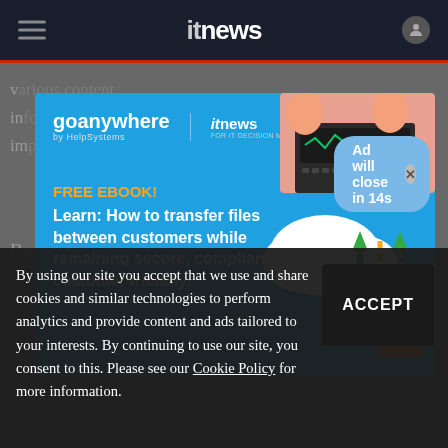itnews
[Figure (screenshot): GoAnywhere by HelpSystems advertisement on itnews website. Blue background ad with illustration showing file transfer between cloud and server with padlock. Text reads: FREE EBOOK! Learn: How to transfer files between customers while remaining secure, compliant & customer friendly!]
Ad will close in 14s
By using our site you accept that we use and share cookies and similar technologies to perform analytics and provide content and ads tailored to your interests. By continuing to use our site, you consent to this. Please see our Cookie Policy for more information.